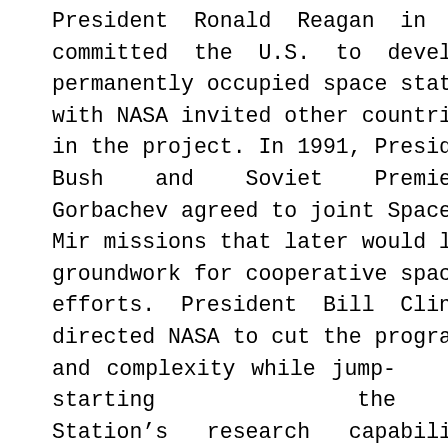President Ronald Reagan in 1984 committed the U.S. to developing a permanently occupied space station and with NASA invited other countries to join in the project. In 1991, President George Bush and Soviet Premier Mikhail Gorbachev agreed to joint Space Shuttle-Mir missions that later would lay the groundwork for cooperative space station efforts. President Bill Clinton in 1993 directed NASA to cut the program's cost and complexity while jump-starting the Station's research capabilities and bringing Russia into the fold. NASA carried out the President's directive, and in addition to the Russian hardware already built or under construction for the International Space Station, that nation's